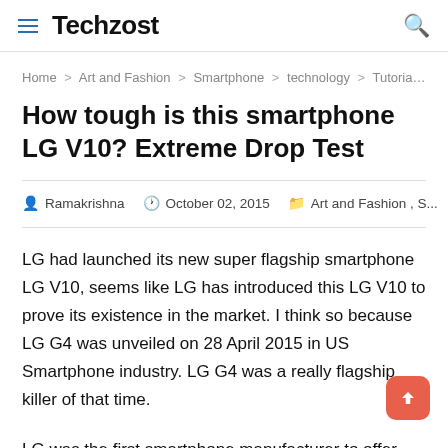Techzost
Home > Art and Fashion > Smartphone > technology > Tutorials > H...
How tough is this smartphone LG V10? Extreme Drop Test
Ramakrishna   October 02, 2015   Art and Fashion , S...
LG had launched its new super flagship smartphone LG V10, seems like LG has introduced this LG V10 to prove its existence in the market. I think so because LG G4 was unveiled on 28 April 2015 in US Smartphone industry. LG G4 was a really flagship killer of that time.
LG was the first smartphone manufacturer to offer complete manual mode shooting in a Smartphone (in